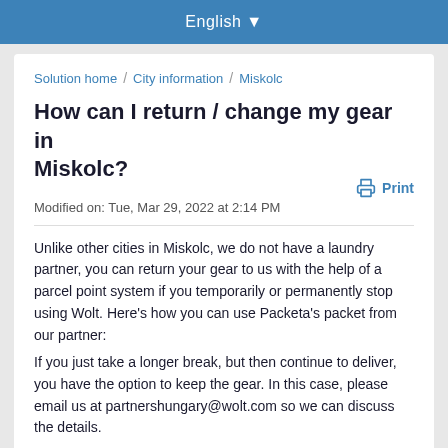English
Solution home / City information / Miskolc
How can I return / change my gear in Miskolc?
Modified on: Tue, Mar 29, 2022 at 2:14 PM
Unlike other cities in Miskolc, we do not have a laundry partner, you can return your gear to us with the help of a parcel point system if you temporarily or permanently stop using Wolt. Here's how you can use Packeta's packet from our partner:
If you just take a longer break, but then continue to deliver, you have the option to keep the gear. In this case, please email us at partnershungary@wolt.com so we can discuss the details.
It is important that the deposit is not returned to your profile in this case, but the return is much faster than requesting new